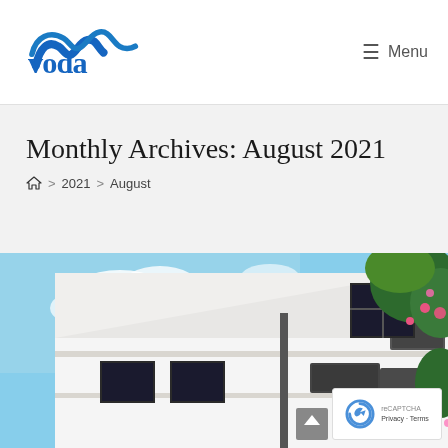voda — Menu
Monthly Archives: August 2021
🏠 > 2021 > August
[Figure (photo): Exterior photo of a white multi-story building with dark window frames and balcony air conditioning units, with green foliage and pink flowers visible on the right side, against a blue sky.]